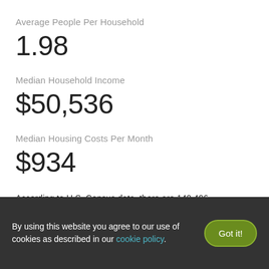Average People Per Household
1.98
Median Household Income
$50,536
Median Housing Costs Per Month
$934
According to U.S. Census data, there are 140,496 households in Pittsburgh, PA. 58,406 are family households and 82,090 are non-
By using this website you agree to our use of cookies as described in our cookie policy.